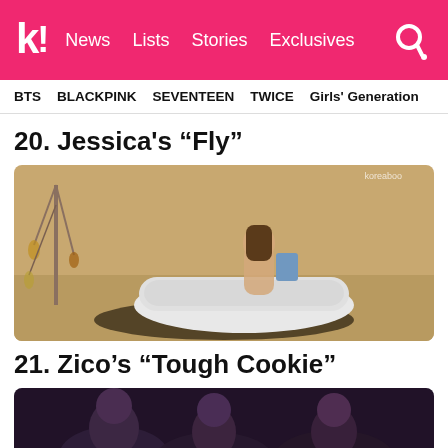k! News  Lists  Stories  Exclusives
BTS  BLACKPINK  SEVENTEEN  TWICE  Girls' Generation
20. Jessica's “Fly”
[Figure (photo): Music video still showing a woman sitting in a white bathtub on a sandy beach, reading something, with hanging decorations on the left side.]
21. Zico’s “Tough Cookie”
[Figure (photo): Dark music video still showing people in a dim setting.]